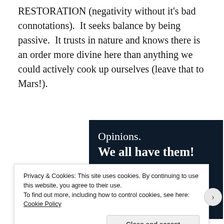RESTORATION (negativity without it's bad connotations).  It seeks balance by being passive.  It trusts in nature and knows there is an order more divine here than anything we could actively cook up ourselves (leave that to Mars!).
[Figure (illustration): Dark navy blue advertisement panel with text 'Opinions. We all have them!' in white. A pink/magenta button bar at bottom left and a light beige circle at bottom right.]
Privacy & Cookies: This site uses cookies. By continuing to use this website, you agree to their use.
To find out more, including how to control cookies, see here:
Cookie Policy
Close and accept